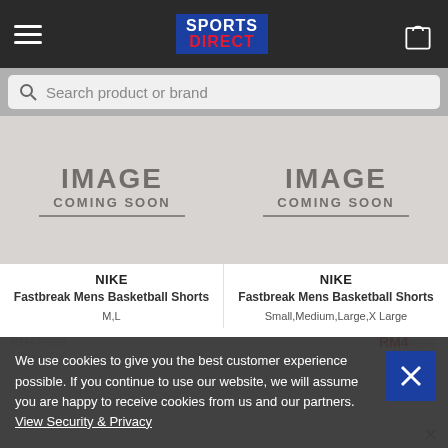SPORTS DIRECT
Search product or brand
[Figure (photo): IMAGE COMING SOON placeholder for Nike Fastbreak Mens Basketball Shorts (left)]
NIKE
Fastbreak Mens Basketball Shorts
M,L
[Figure (photo): IMAGE COMING SOON placeholder for Nike Fastbreak Mens Basketball Shorts (right)]
NIKE
Fastbreak Mens Basketball Shorts
Small,Medium,Large,X Large
RM4.99.00
We use cookies to give you the best customer experience possible. If you continue to use our website, we will assume you are happy to receive cookies from us and our partners.
View Security & Privacy